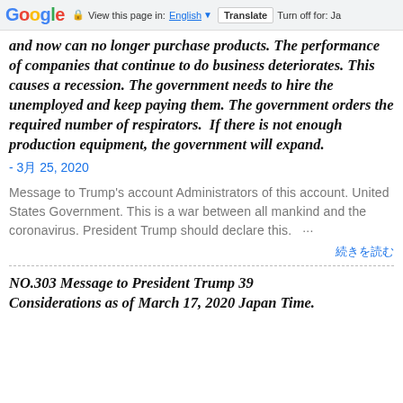Google  View this page in: English [▼]  Translate  Turn off for: Ja
and now can no longer purchase products. The performance of companies that continue to do business deteriorates. This causes a recession. The government needs to hire the unemployed and keep paying them. The government orders the required number of respirators.  If there is not enough production equipment, the government will expand.
- 3月 25, 2020
Message to Trump's account Administrators of this account. United States Government. This is a war between all mankind and the coronavirus. President Trump should declare this. ...
続きを読む
NO.303 Message to President Trump 39 Considerations as of March 17, 2020 Japan Time.